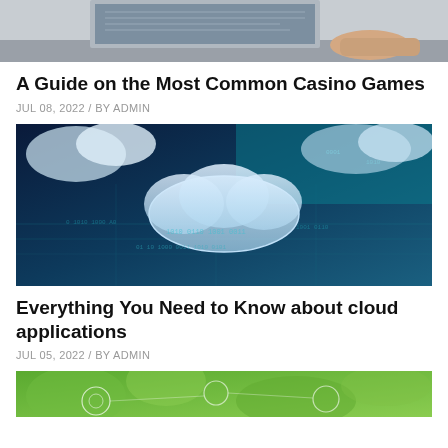[Figure (photo): Partial view of a person working at a laptop, cropped at top]
A Guide on the Most Common Casino Games
JUL 08, 2022 / BY ADMIN
[Figure (photo): Digital cloud technology concept image with glowing cloud icon on blue data background]
Everything You Need to Know about cloud applications
JUL 05, 2022 / BY ADMIN
[Figure (photo): Green nature background with circular technology/network icons overlay, partially cropped]